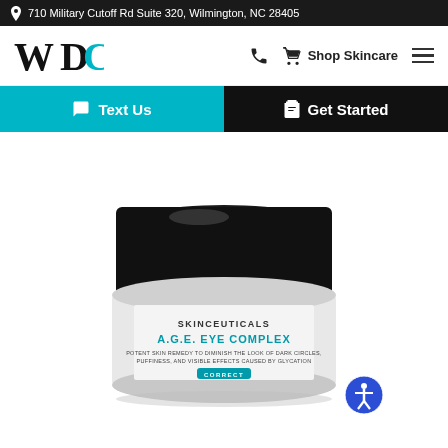710 Military Cutoff Rd Suite 320, Wilmington, NC 28405
[Figure (logo): WDC logo with stylized W, D, C letters in black and teal]
Shop Skincare
Text Us
Get Started
[Figure (photo): SkinCeuticals A.G.E. Eye Complex jar product photo. Black lid with silver-gray glass jar. Label reads: SKINCEUTICALS A.G.E. EYE COMPLEX - POTENT SKIN REMEDY TO DIMINISH THE LOOK OF DARK CIRCLES, PUFFINESS, AND VISIBLE EFFECTS CAUSED BY GLYCATION. Teal CORRECT badge at bottom.]